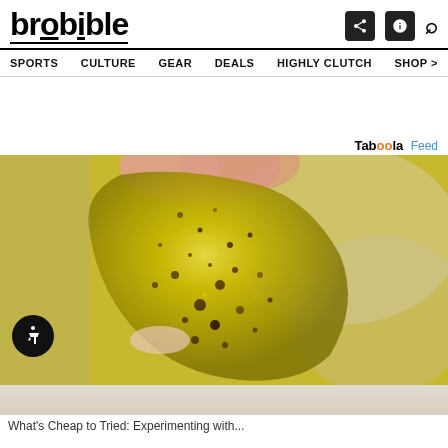brobible
SPORTS  CULTURE  GEAR  DEALS  HIGHLY CLUTCH  SHOP >
Tab99la Feed
[Figure (photo): Close-up photo of a hand holding a translucent golden/yellow strip or piece of food (possibly a chip or candy) with dark specks, appearing to have edible gold glitter or seasoning on it. Background shows blurred glassware.]
What's Cheap to Tried: Experimenting with...